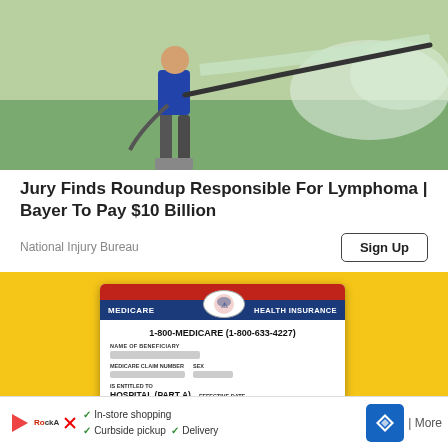[Figure (photo): Person spraying herbicide/pesticide on grass field with a long wand sprayer, mist visible]
Jury Finds Roundup Responsible For Lymphoma | Bayer To Pay $10 Billion
National Injury Bureau
[Figure (photo): Medicare Health Insurance card held against yellow background, showing 1-800-MEDICARE (1-800-633-4227), blurred beneficiary name and claim number, Hospital (Part A) and Medical (Part B) with effective dates 06-01-[redacted]]
All Adults On Medicare Receive A Huge Benefit (Check If You Qualify)
Simply | In-store shopping  Curbside pickup  Delivery | More